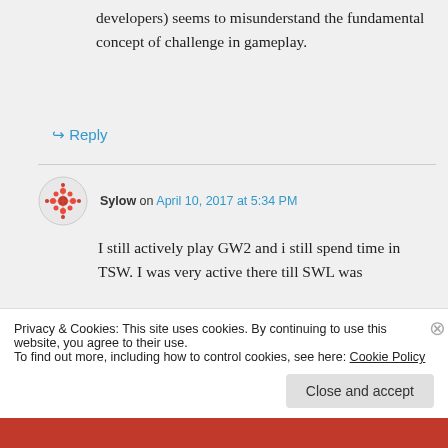developers) seems to misunderstand the fundamental concept of challenge in gameplay.
↳ Reply
Sylow on April 10, 2017 at 5:34 PM
I still actively play GW2 and i still spend time in TSW. I was very active there till SWL was
Privacy & Cookies: This site uses cookies. By continuing to use this website, you agree to their use.
To find out more, including how to control cookies, see here: Cookie Policy
Close and accept